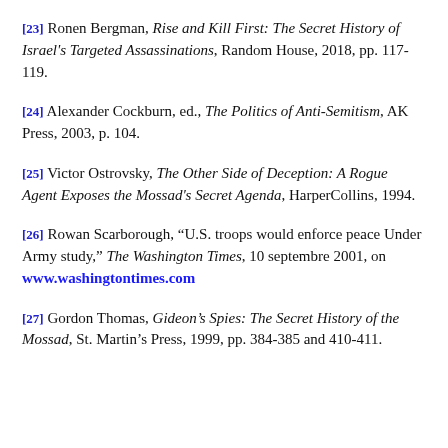[23] Ronen Bergman, Rise and Kill First: The Secret History of Israel's Targeted Assassinations, Random House, 2018, pp. 117-119.
[24] Alexander Cockburn, ed., The Politics of Anti-Semitism, AK Press, 2003, p. 104.
[25] Victor Ostrovsky, The Other Side of Deception: A Rogue Agent Exposes the Mossad's Secret Agenda, HarperCollins, 1994.
[26] Rowan Scarborough, “U.S. troops would enforce peace Under Army study,” The Washington Times, 10 septembre 2001, on www.washingtontimes.com
[27] Gordon Thomas, Gideon’s Spies: The Secret History of the Mossad, St. Martin’s Press, 1999, pp. 384-385 and 410-411.